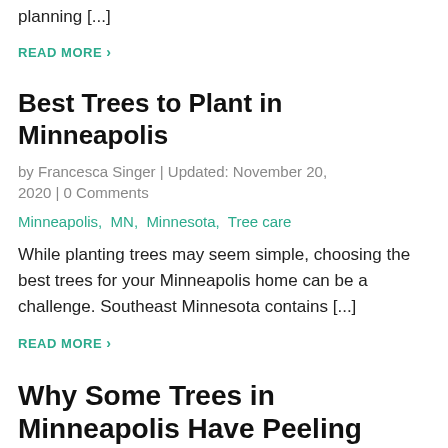planning [...]
READ MORE ›
Best Trees to Plant in Minneapolis
by Francesca Singer | Updated: November 20, 2020 | 0 Comments
Minneapolis, MN, Minnesota, Tree care
While planting trees may seem simple, choosing the best trees for your Minneapolis home can be a challenge. Southeast Minnesota contains [...]
READ MORE ›
Why Some Trees in Minneapolis Have Peeling Bark